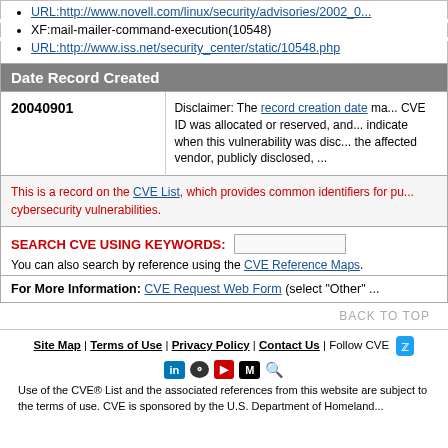URL:http://www.novell.com/linux/security/advisories/2002_0...
XF:mail-mailer-command-execution(10548)
URL:http://www.iss.net/security_center/static/10548.php
Date Record Created
| Date | Disclaimer |
| --- | --- |
| 20040901 | Disclaimer: The record creation date may indicate when the CVE ID was allocated or reserved, and does not necessarily indicate when this vulnerability was discovered, shared with the affected vendor, publicly disclosed, ... |
This is a record on the CVE List, which provides common identifiers for publicly known cybersecurity vulnerabilities.
SEARCH CVE USING KEYWORDS:
You can also search by reference using the CVE Reference Maps.
For More Information: CVE Request Web Form (select "Other" ...
BACK TO TOP
Site Map | Terms of Use | Privacy Policy | Contact Us | Follow CVE
Use of the CVE® List and the associated references from this website are subject to the terms of use. CVE is sponsored by the U.S. Department of Homeland...